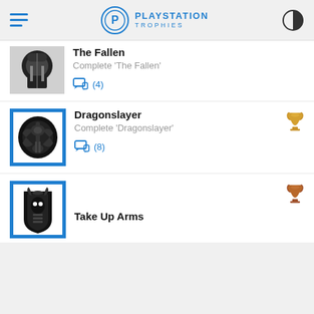PLAYSTATION TROPHIES
The Fallen
Complete 'The Fallen'
(4)
Dragonslayer
Complete 'Dragonslayer'
(8)
Take Up Arms